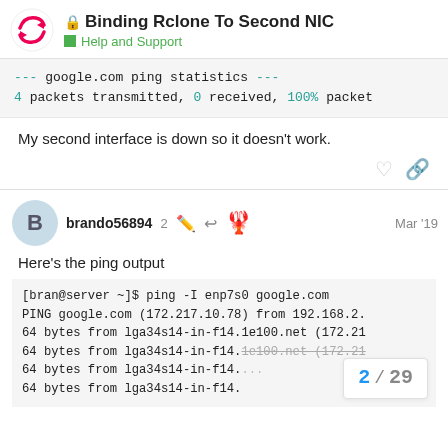Binding Rclone To Second NIC — Help and Support
--- google.com ping statistics ---
4 packets transmitted, 0 received, 100% packet
My second interface is down so it doesn't work.
brando56894  2  Mar '19
Here's the ping output
[bran@server ~]$ ping -I enp7s0 google.com
PING google.com (172.217.10.78) from 192.168.2.
64 bytes from lga34s14-in-f14.1e100.net (172.21
64 bytes from lga34s14-in-f14.1e100.net (172.21
64 bytes from lga34s14.
64 bytes from lga34s14-in-f14.
2 / 29